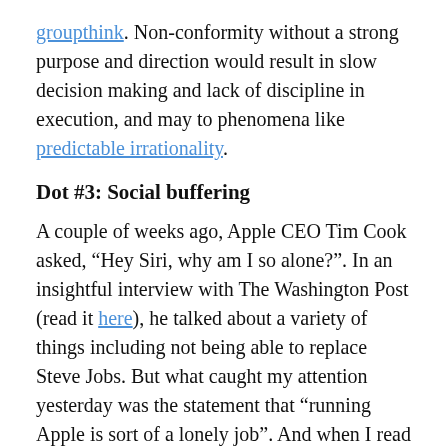groupthink. Non-conformity without a strong purpose and direction would result in slow decision making and lack of discipline in execution, and may to phenomena like predictable irrationality.
Dot #3: Social buffering
A couple of weeks ago, Apple CEO Tim Cook asked, “Hey Siri, why am I so alone?”. In an insightful interview with The Washington Post (read it here), he talked about a variety of things including not being able to replace Steve Jobs. But what caught my attention yesterday was the statement that “running Apple is sort of a lonely job”. And when I read an academic